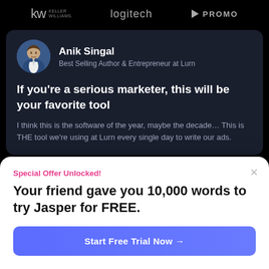[Figure (logo): Three logos in a row on black background: Keller Williams (kw), Logitech, and Promo]
[Figure (illustration): Dark card with testimonial from Anik Singal, Best Selling Author & Entrepreneur at Lurn, with circular avatar photo of a man in a blue suit]
If you're a serious marketer, this will be your favorite tool
I think this is the software of the year, maybe the decade… This is THE tool we're using at Lurn every single day to write our ads.
Special Offer Unlocked!
Your friend gave you 10,000 words to try Jasper for FREE.
Start Free Trial Now →